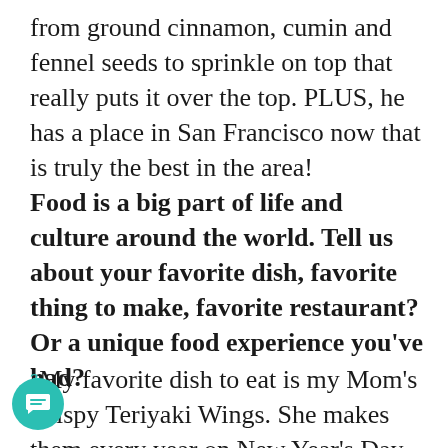from ground cinnamon, cumin and fennel seeds to sprinkle on top that really puts it over the top. PLUS, he has a place in San Francisco now that is truly the best in the area!
Food is a big part of life and culture around the world. Tell us about your favorite dish, favorite thing to make, favorite restaurant? Or a unique food experience you've had?
My favorite dish to eat is my Mom's Crispy Teriyaki Wings. She makes them every year on New Year's Day and they